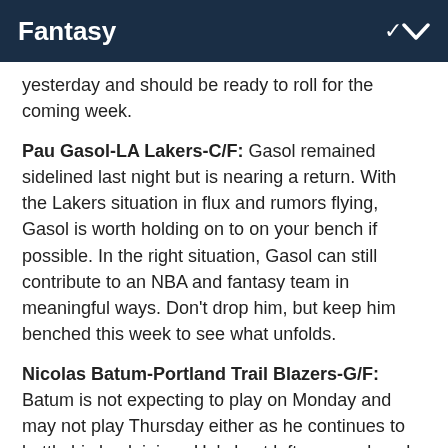Fantasy
yesterday and should be ready to roll for the coming week.
Pau Gasol-LA Lakers-C/F: Gasol remained sidelined last night but is nearing a return. With the Lakers situation in flux and rumors flying, Gasol is worth holding on to on your bench if possible. In the right situation, Gasol can still contribute to an NBA and fantasy team in meaningful ways. Don't drop him, but keep him benched this week to see what unfolds.
Nicolas Batum-Portland Trail Blazers-G/F: Batum is not expecting to play on Monday and may not play Thursday either as he continues to battle his back injury. He's best left on your bench this week.
Dec 8, 2012; Miami FL, USA; New Orleans Hornets power forward Anthony Davis (23) before a game